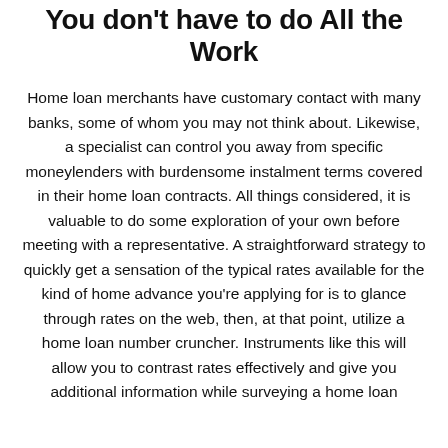You don't have to do All the Work
Home loan merchants have customary contact with many banks, some of whom you may not think about. Likewise, a specialist can control you away from specific moneylenders with burdensome instalment terms covered in their home loan contracts. All things considered, it is valuable to do some exploration of your own before meeting with a representative. A straightforward strategy to quickly get a sensation of the typical rates available for the kind of home advance you're applying for is to glance through rates on the web, then, at that point, utilize a home loan number cruncher. Instruments like this will allow you to contrast rates effectively and give you additional information while surveying a home loan